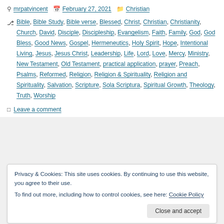mrpatvincent  February 27, 2021  Christian
Bible, Bible Study, Bible verse, Blessed, Christ, Christian, Christianity, Church, David, Disciple, Discipleship, Evangelism, Faith, Family, God, God Bless, Good News, Gospel, Hermeneutics, Holy Spirit, Hope, Intentional Living, Jesus, Jesus Christ, Leadership, Life, Lord, Love, Mercy, Ministry, New Testament, Old Testament, practical application, prayer, Preach, Psalms, Reformed, Religion, Religion & Spirituality, Religion and Spirituality, Salvation, Scripture, Sola Scriptura, Spiritual Growth, Theology, Truth, Worship
Leave a comment
Privacy & Cookies: This site uses cookies. By continuing to use this website, you agree to their use. To find out more, including how to control cookies, see here: Cookie Policy